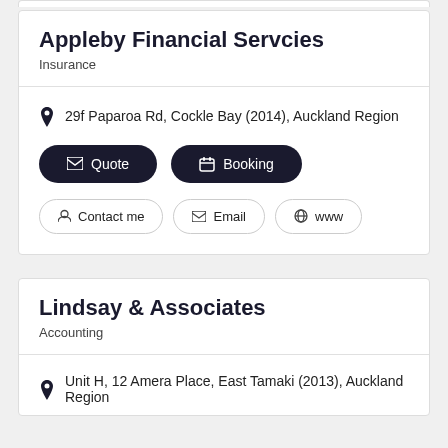Appleby Financial Servcies
Insurance
29f Paparoa Rd, Cockle Bay (2014), Auckland Region
Quote
Booking
Contact me
Email
www
Lindsay & Associates
Accounting
Unit H, 12 Amera Place, East Tamaki (2013), Auckland Region